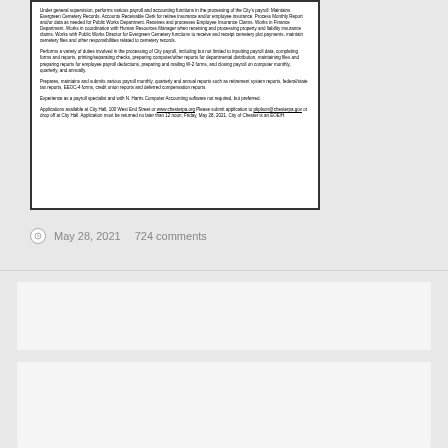[Figure (screenshot): Scanned document excerpt showing job posting text for a payroll/accounting position at City of Chester, including duties, experience requirements, and application instructions.]
May 28, 2021   724 comments
[Figure (other): Empty content area / advertisement placeholder]
Comments (724)